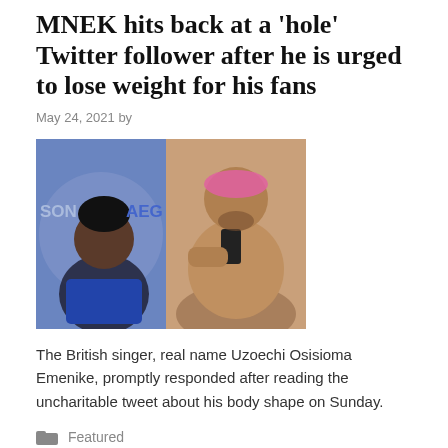MNEK hits back at a 'hole' Twitter follower after he is urged to lose weight for his fans
May 24, 2021 by
[Figure (photo): Two images of a man: one at an event wearing blue, and one a shirtless selfie. Text visible includes 'SON' and 'AEG' logos.]
The British singer, real name Uzoechi Osisioma Emenike, promptly responded after reading the uncharitable tweet about his body shape on Sunday.
Featured